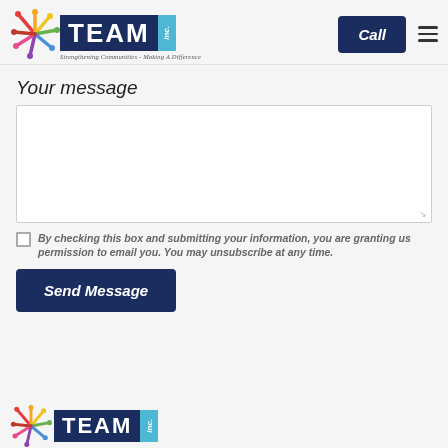[Figure (logo): TEAM Inc. logo with colorful starburst icon, dark navy 'TEAM' text block with teal 'inc.' sidebar, and tagline 'Strengthening Communities - Making A Difference']
Call
Your message
[Figure (other): Text area input field for message]
By checking this box and submitting your information, you are granting us permission to email you. You may unsubscribe at any time.
Send Message
[Figure (logo): TEAM Inc. logo (partial, bottom of page) - colorful starburst icon with dark navy 'TEAM' text block and teal sidebar]